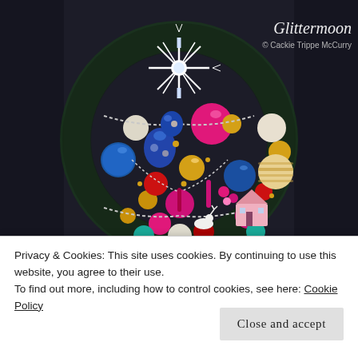[Figure (photo): A decorative Christmas wreath made of colorful vintage glass ornaments in pink, blue, gold, red, and white, with a starburst topper, displayed against a dark background. Watermark reads 'Glittermoon © Cackie Trippe McCurry' in the top right corner.]
Privacy & Cookies: This site uses cookies. By continuing to use this website, you agree to their use.
To find out more, including how to control cookies, see here: Cookie Policy
Close and accept
Dec 12, 2015